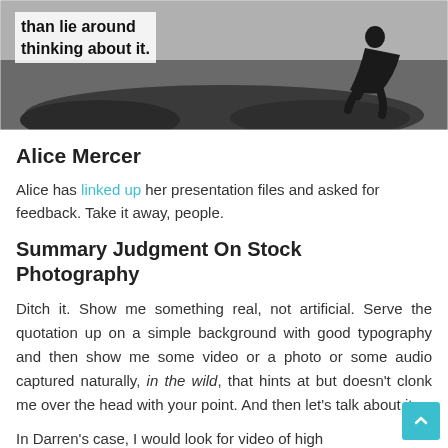[Figure (photo): Black and white photo of a person crouching on rocks, with motivational quote text overlaid: 'than lie around thinking about it.']
Alice Mercer
Alice has linked up her presentation files and asked for feedback. Take it away, people.
Summary Judgment On Stock Photography
Ditch it. Show me something real, not artificial. Serve the quotation up on a simple background with good typography and then show me some video or a photo or some audio captured naturally, in the wild, that hints at but doesn't clonk me over the head with your point. And then let's talk about it.
In Darren's case, I would look for video of high